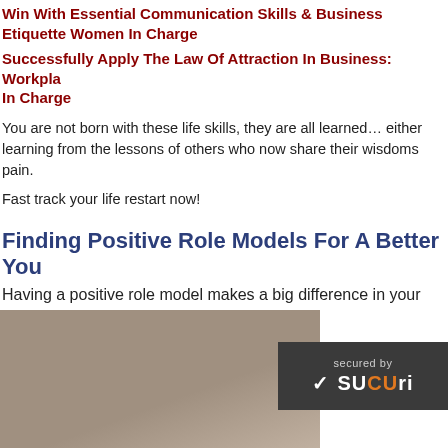Win With Essential Communication Skills & Business Etiquette Women In Charge
Successfully Apply The Law Of Attraction In Business: Workplace In Charge
You are not born with these life skills, they are all learned… either learning from the lessons of others who now share their wisdoms pain.
Fast track your life restart now!
Finding Positive Role Models For A Better You
Having a positive role model makes a big difference in your ge
[Figure (photo): Photo of a person, partially visible at bottom of page]
[Figure (logo): Sucuri security badge reading 'secured by SUCURI' with checkmark on dark background]